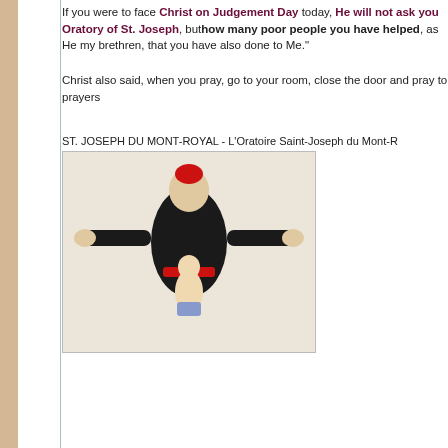If you were to face Christ on Judgement Day today, He will not ask you Oratory of St. Joseph, but how many poor people you have helped, as He my brethren, that you have also done to Me.
Christ also said, when you pray, go to your room, close the door and pray to prayers
ST. JOSEPH DU MONT-ROYAL - L'Oratoire Saint-Joseph du Mont-R
[Figure (photo): A figure in black clerical robes and red zucchetto with arms outstretched, and a young child clinging to the front of the figure.]